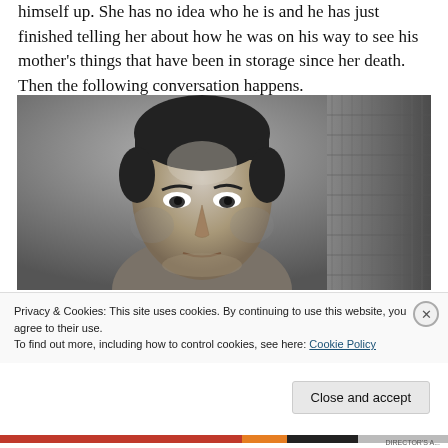himself up. She has no idea who he is and he has just finished telling her about how he was on his way to see his mother's things that have been in storage since her death. Then the following conversation happens.
[Figure (photo): Black and white close-up photo of a man with dark hair looking intensely at the camera, with a textured wall or rug visible in the background.]
Privacy & Cookies: This site uses cookies. By continuing to use this website, you agree to their use. To find out more, including how to control cookies, see here: Cookie Policy
Close and accept